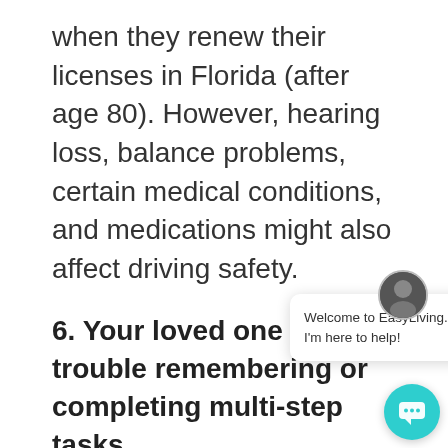when they renew their licenses in Florida (after age 80). However, hearing loss, balance problems, certain medical conditions, and medications might also affect driving safety.
6. Your loved one has trouble remembering or completing multi-step tasks
Driving is a complex activity requiring memory, engaging senses and processing complex information, following various steps, and more. Most people with
[Figure (other): Chat widget overlay showing a person avatar, a close button (×), and the message 'Welcome to EasyLiving. I'm here to help!' in a white popup bubble, plus a teal circular chat button at bottom right.]